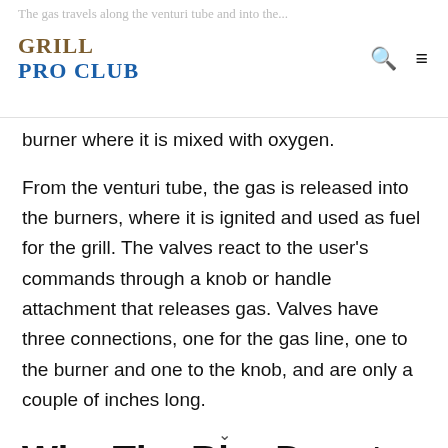GRILL PRO CLUB
burner where it is mixed with oxygen.
From the venturi tube, the gas is released into the burners, where it is ignited and used as fuel for the grill. The valves react to the user's commands through a knob or handle attachment that releases gas. Valves have three connections, one for the gas line, one to the burner and one to the knob, and are only a couple of inches long.
Why The Bbq Depot Valves
The BBQ Depot has all kinds of grill valves and regulators to fit the exact part number and model of your original valve. We